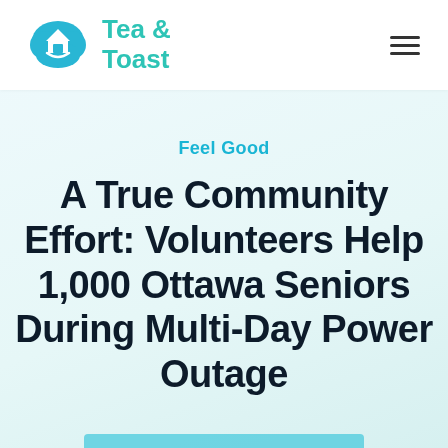Tea & Toast
Feel Good
A True Community Effort: Volunteers Help 1,000 Ottawa Seniors During Multi-Day Power Outage